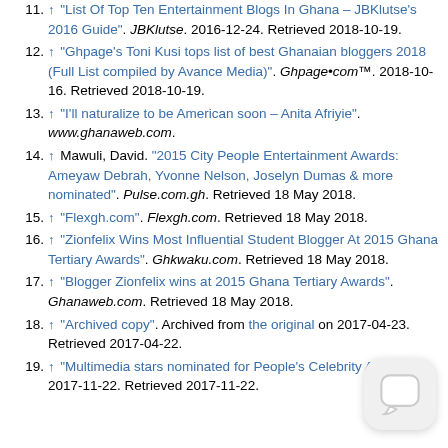11. ↑ "List Of Top Ten Entertainment Blogs In Ghana – JBKlutse's 2016 Guide". JBKlutse. 2016-12-24. Retrieved 2018-10-19.
12. ↑ "Ghpage's Toni Kusi tops list of best Ghanaian bloggers 2018 (Full List compiled by Avance Media)". Ghpage•com™. 2018-10-16. Retrieved 2018-10-19.
13. ↑ "I'll naturalize to be American soon – Anita Afriyie". www.ghanaweb.com.
14. ↑ Mawuli, David. "2015 City People Entertainment Awards: Ameyaw Debrah, Yvonne Nelson, Joselyn Dumas & more nominated". Pulse.com.gh. Retrieved 18 May 2018.
15. ↑ "Flexgh.com". Flexgh.com. Retrieved 18 May 2018.
16. ↑ "Zionfelix Wins Most Influential Student Blogger At 2015 Ghana Tertiary Awards". Ghkwaku.com. Retrieved 18 May 2018.
17. ↑ "Blogger Zionfelix wins at 2015 Ghana Tertiary Awards". Ghanaweb.com. Retrieved 18 May 2018.
18. ↑ "Archived copy". Archived from the original on 2017-04-23. Retrieved 2017-04-22.
19. ↑ "Multimedia stars nominated for People's Celebrity Awards". 2017-11-22. Retrieved 2017-11-22.